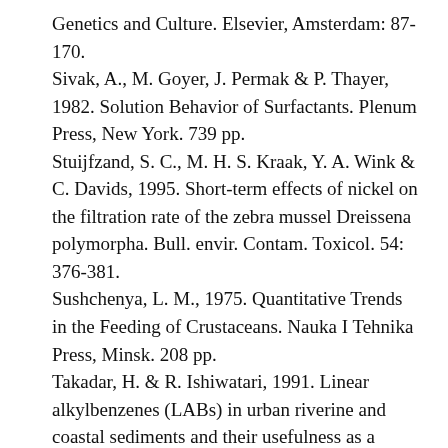Genetics and Culture. Elsevier, Amsterdam: 87-170.
Sivak, A., M. Goyer, J. Permak & P. Thayer, 1982. Solution Behavior of Surfactants. Plenum Press, New York. 739 pp.
Stuijfzand, S. C., M. H. S. Kraak, Y. A. Wink & C. Davids, 1995. Short-term effects of nickel on the filtration rate of the zebra mussel Dreissena polymorpha. Bull. envir. Contam. Toxicol. 54: 376-381.
Sushchenya, L. M., 1975. Quantitative Trends in the Feeding of Crustaceans. Nauka I Tehnika Press, Minsk. 208 pp.
Takadar, H. & R. Ishiwatari, 1991. Linear alkylbenzenes (LABs) in urban riverine and coastal sediments and their usefulness as a